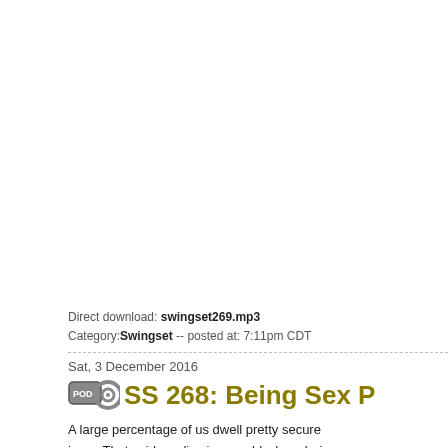Direct download: swingset269.mp3
Category: Swingset -- posted at: 7:11pm CDT
Sat, 3 December 2016
SS 268: Being Sex P...
A large percentage of us dwell pretty secure... Lola, Dr. Liz Powell, Cooper and Dylan tal...
As you listen, don't forget to tweet at #sspod...
We're sponsored by Castle Megastore, a o...